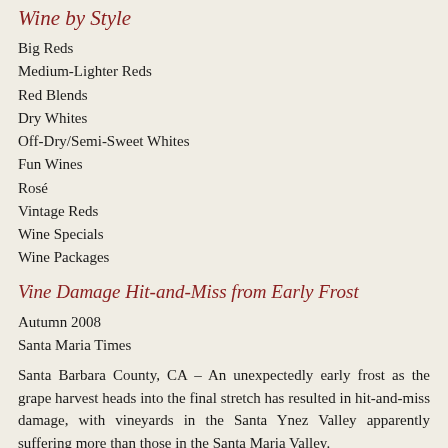Wine by Style
Big Reds
Medium-Lighter Reds
Red Blends
Dry Whites
Off-Dry/Semi-Sweet Whites
Fun Wines
Rosé
Vintage Reds
Wine Specials
Wine Packages
Vine Damage Hit-and-Miss from Early Frost
Autumn 2008
Santa Maria Times
Santa Barbara County, CA – An unexpectedly early frost as the grape harvest heads into the final stretch has resulted in hit-and-miss damage, with vineyards in the Santa Ynez Valley apparently suffering more than those in the Santa Maria Valley.